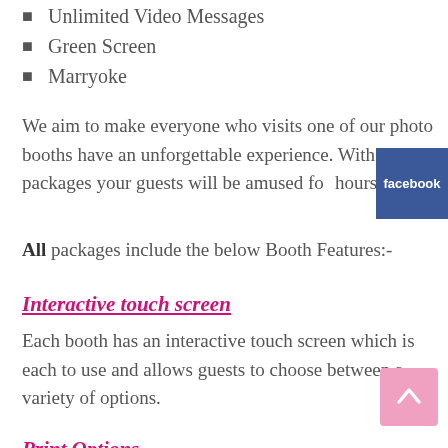Unlimited Video Messages
Green Screen
Marryoke
We aim to make everyone who visits one of our photo booths have an unforgettable experience. With our packages your guests will be amused for hours.
All packages include the below Booth Features:-
Interactive touch screen
Each booth has an interactive touch screen which is each to use and allows guests to choose between a variety of options.
Print Options
Print options can be selected from one single photo